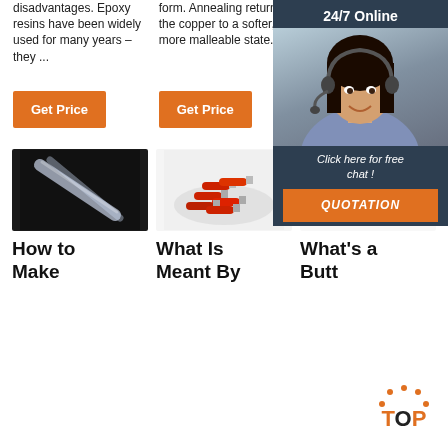disadvantages. Epoxy resins have been widely used for many years – they ...
form. Annealing returns the copper to a softer, more malleable state.
ECATT 9720 may be applied in strips or die cut to specific shapes and sizes. Compa... screws... mecha...
[Figure (infographic): 24/7 Online chat widget with woman wearing headset, dark navy background, orange QUOTATION button and 'Click here for free chat!' text]
[Figure (photo): Heat shrink tubing on dark background]
[Figure (photo): Red wire ferrule terminals pile]
[Figure (photo): Butt connector terminal on white background]
How to Make
What Is Meant By
What's a Butt